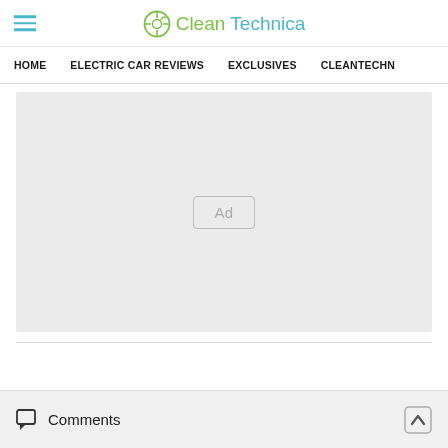CleanTechnica
HOME   ELECTRIC CAR REVIEWS   EXCLUSIVES   CLEANTECHN
[Figure (other): Advertisement placeholder box with 'Ad' label centered in a light gray rectangle]
Comments